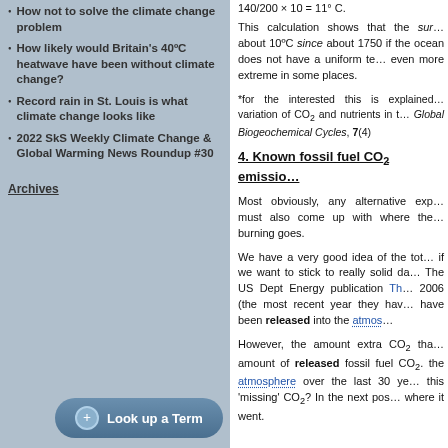How not to solve the climate change problem
How likely would Britain's 40°C heatwave have been without climate change?
Record rain in St. Louis is what climate change looks like
2022 SkS Weekly Climate Change & Global Warming News Roundup #30
Archives
Look up a Term
This calculation shows that the surface ocean has warmed about 10°C since about 1750 if the ocean does not have a uniform temperature — even more extreme in some places.
*for the interested this is explained — variation of CO₂ and nutrients in the Global Biogeochemical Cycles, 7(4)
4. Known fossil fuel CO₂ emissions
Most obviously, any alternative explanation must also come up with where the CO₂ from burning goes.
We have a very good idea of the total amount if we want to stick to really solid data from 2006. The US Dept Energy publication Th… 2006 (the most recent year they have) — have been released into the atmos…
However, the amount extra CO₂ that… amount of released fossil fuel CO₂. the atmosphere over the last 30 ye… this 'missing' CO₂? In the next post… where it went.